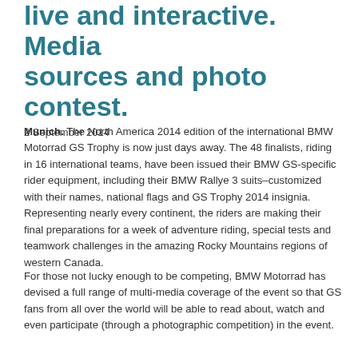live and interactive. Media sources and photo contest.
2 September 2014
Munich. The North America 2014 edition of the international BMW Motorrad GS Trophy is now just days away. The 48 finalists, riding in 16 international teams, have been issued their BMW GS-specific rider equipment, including their BMW Rallye 3 suits–customized with their names, national flags and GS Trophy 2014 insignia. Representing nearly every continent, the riders are making their final preparations for a week of adventure riding, special tests and teamwork challenges in the amazing Rocky Mountains regions of western Canada.
For those not lucky enough to be competing, BMW Motorrad has devised a full range of multi-media coverage of the event so that GS fans from all over the world will be able to read about, watch and even participate (through a photographic competition) in the event.